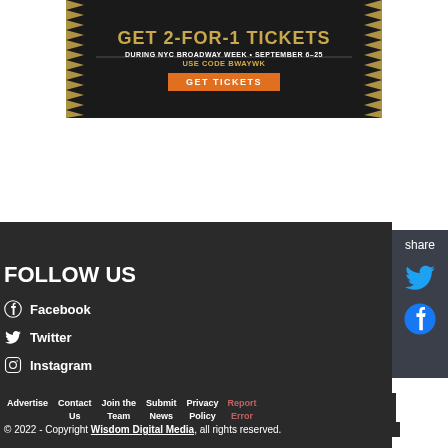[Figure (infographic): Advertisement banner: GET 2-FOR-1 TICKETS during NYC Broadway Week, September 6-25. Use code BWAYWK. GET TICKETS button. Gold spiky border decoration on sides.]
share
FOLLOW US
Facebook
Twitter
Instagram
Advertise | Contact Us | Join the Team | Submit News | Privacy Policy | Report Error
© 2022 - Copyright Wisdom Digital Media, all rights reserved.